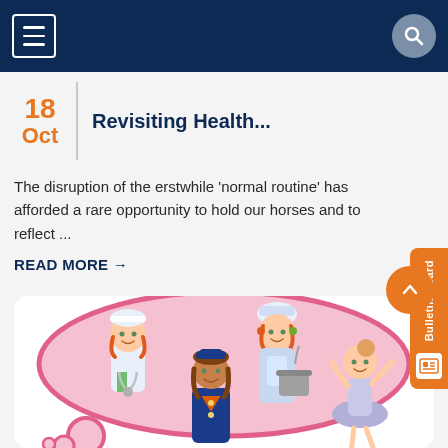Navigation bar with hamburger menu and search icon
18 Oct — Revisiting Health...
The disruption of the erstwhile 'normal routine' has afforded a rare opportunity to hold our horses and to reflect ...
READ MORE →
[Figure (illustration): Children dressed as various professionals — doctor, chef, flight attendant, ballet dancer — inside a pink thought-bubble shape on a white card]